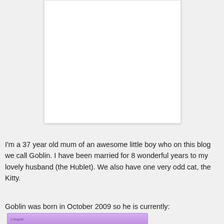[Figure (other): White blank card/image placeholder with light shadow and border]
I'm a 37 year old mum of an awesome little boy who on this blog we call Goblin. I have been married for 8 wonderful years to my lovely husband (the Hublet). We also have one very odd cat, the Kitty.
Goblin was born in October 2009 so he is currently:
[Figure (other): Lilupie ticker/widget showing child age, purple background with cartoon illustration]